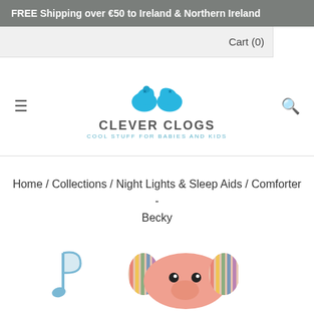FREE Shipping over €50 to Ireland & Northern Ireland
Cart (0)
[Figure (logo): Clever Clogs logo with two blue clog shoes and tagline COOL STUFF FOR BABIES AND KIDS]
Home / Collections / Night Lights & Sleep Aids / Comforter - Becky
[Figure (photo): Bottom portion of product image showing a musical note icon on the left and a pink elephant plush toy on the right]